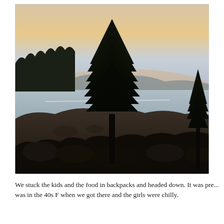[Figure (photo): Outdoor landscape photo at dusk showing a tall pine tree silhouetted in the foreground against a calm lake or reservoir. Mountains are visible in the far background under a warm orange-pink sunset sky. Dark forested hills are on the left, and scrubby vegetation fills the lower foreground. The scene has cool blue tones on the water contrasting with warm peach tones in the sky.]
We stuck the kids and the food in backpacks and headed down. It was pre... was in the 40s F when we got there and the girls were chilly.